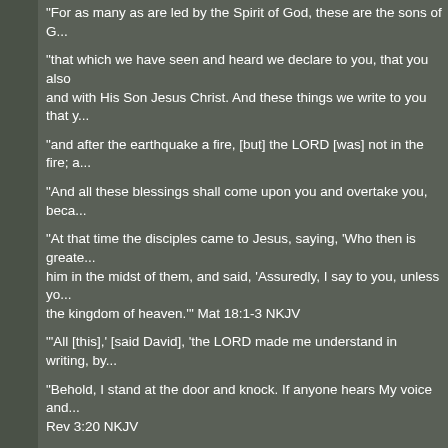"For as many as are led by the Spirit of God, these are the sons of G...
"that which we have seen and heard we declare to you, that you also... and with His Son Jesus Christ. And these things we write to you that y...
"and after the earthquake a fire, [but] the LORD [was] not in the fire; a...
"And all these blessings shall come upon you and overtake you, beca...
"At that time the disciples came to Jesus, saying, 'Who then is greate... him in the midst of them, and said, 'Assuredly, I say to you, unless yo... the kingdom of heaven.'" Mat 18:1-3 NKJV
"'All [this],' [said David], 'the LORD made me understand in writing, by...
"Behold, I stand at the door and knock. If anyone hears My voice and... Rev 3:20 NKJV
"He who has an ear, let him hear what the Spirit says to the churches...
"Pilate therefore said to Him, 'Are You a king then?' Jesus answered,... cause I have come into the world: that I should bear witness to the tr...
"My sheep hear My voice, and I know them, and they follow Me." Jhn...
"Blessed is the man who listens to Me, watching daily at My gates, wa... favor from the LORD;" Pro 8:34-35 NKJV
"To them God willed to make known what are the riches of the glory o... glory. Col 1:27 NKJV